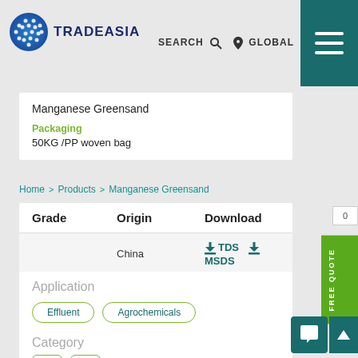[Figure (logo): TradeAsia logo with globe icon and text TRADEASIA]
SEARCH  GLOBAL
Manganese Greensand
Packaging
50KG /PP woven bag
Home > Products > Manganese Greensand
| Grade | Origin | Download |
| --- | --- | --- |
|  | China | ↓ TDS   ↓ MSDS |
Application
Effluent
Agrochemicals
Category